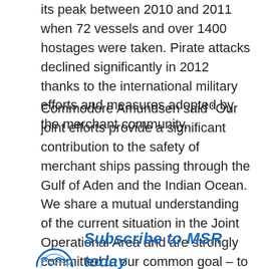its peak between 2010 and 2011 when 72 vessels and over 1400 hostages were taken. Pirate attacks declined significantly in 2012 thanks to the international military efforts and measures adopted by the merchant community.
Commodore Amundsen said “Our joint efforts provide a significant contribution to the safety of merchant ships passing through the Gulf of Aden and the Indian Ocean. We share a mutual understanding of the current situation in the Joint Operational Area and are strongly committed to our common goal – to counter piracy. To achieve this, it is of the utmost importance to enhance the cooperation between the forces present in the area.”
[Figure (logo): Circular logo/emblem partially visible at bottom left, and italic bold blue text reading 'Subscribe to MSR today']